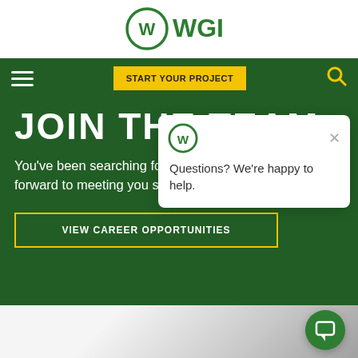[Figure (logo): WGI company logo — circular W mark with WGI text, green on white background]
Navigation bar with hamburger menu, START YOUR PROJECT button, and search icon
JOIN THE TEAM
You've been searching for a place like WGI. We look forward to meeting you soon.
VIEW CAREER OPPORTUNITIES
Questions? We're happy to help.
[Figure (screenshot): Bottom area showing a blurred office table/furniture photograph]